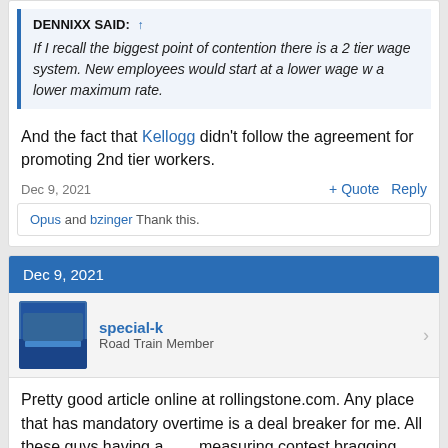DENNIXX SAID: ↑
If I recall the biggest point of contention there is a 2 tier wage system. New employees would start at a lower wage w a lower maximum rate.
And the fact that Kellogg didn't follow the agreement for promoting 2nd tier workers.
Dec 9, 2021
+ Quote   Reply
Opus and bzinger Thank this.
Dec 9, 2021
special-k
Road Train Member
Pretty good article online at rollingstone.com. Any place that has mandatory overtime is a deal breaker for me. All these guys having a ___ measuring contest bragging